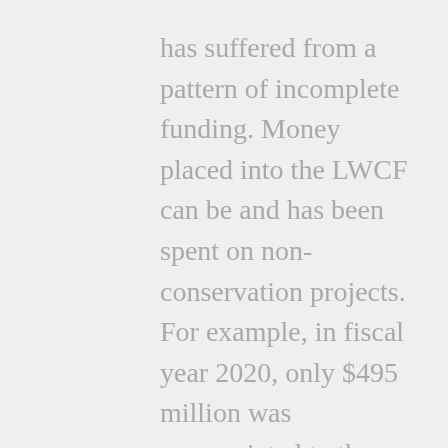has suffered from a pattern of incomplete funding. Money placed into the LWCF can be and has been spent on non-conservation projects. For example, in fiscal year 2020, only $495 million was appropriated to the LWCF—only slightly more than half of total funding, and yet the greatest amount in 15 years.
The GAOA will break this cycle. It will make the annual $900 million of funding for the LWCF complete